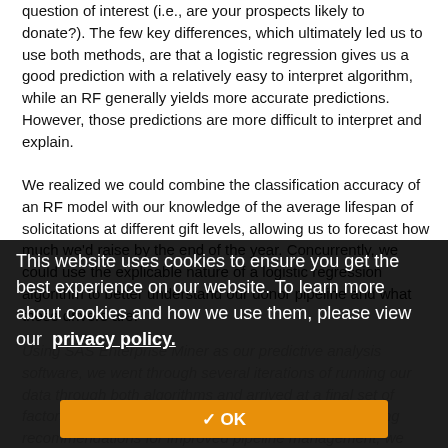question of interest (i.e., are your prospects likely to donate?). The few key differences, which ultimately led us to use both methods, are that a logistic regression gives us a good prediction with a relatively easy to interpret algorithm, while an RF generally yields more accurate predictions. However, those predictions are more difficult to interpret and explain.
We realized we could combine the classification accuracy of an RF model with our knowledge of the average lifespan of solicitations at different gift levels, allowing us to forecast how much we'd raise by the end of the year. Concurrently, we could use the explicable nature of a logistic regression algorithm to better understand our donor pipeline and what those drivers are.
This website uses cookies to ensure you get the best experience on our website. To learn more about cookies and how we use them, please view our privacy policy.
✓ OK
Using SAS Enterprise Miner as our predictive analysis software, we went through several iterations of running our data through both algorithms and arrived at a final set of factors and models. Given we were interested in creating recommendations for improved pipeline management, we focused primarily on including factors that were within our ability to change (i.e., how often someone is contacted as